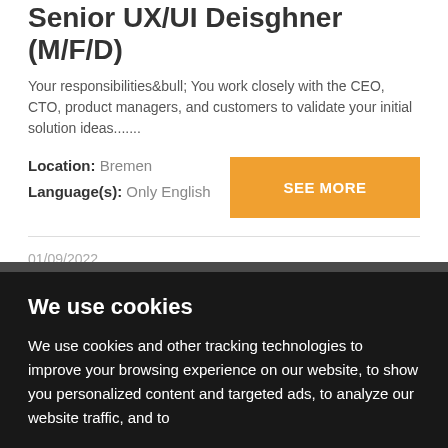Senior UX/UI Deisghner (M/F/D)
Your responsibilities&bull; You work closely with the CEO, CTO, product managers, and customers to validate your initial solution ideas.......
Location: Bremen
Language(s): Only English
SEE MORE
01/09/2022
Team Lead Java Backend Web Develenment Remote (M/F/D)
We use cookies
We use cookies and other tracking technologies to improve your browsing experience on our website, to show you personalized content and targeted ads, to analyze our website traffic, and to